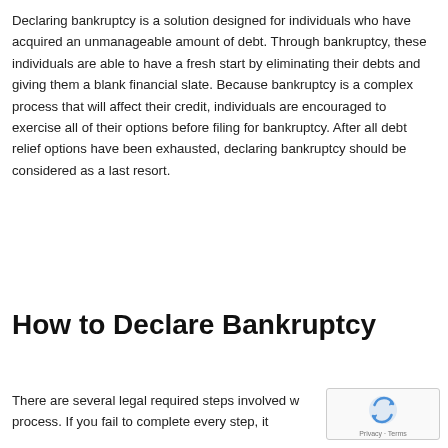Declaring bankruptcy is a solution designed for individuals who have acquired an unmanageable amount of debt. Through bankruptcy, these individuals are able to have a fresh start by eliminating their debts and giving them a blank financial slate. Because bankruptcy is a complex process that will affect their credit, individuals are encouraged to exercise all of their options before filing for bankruptcy. After all debt relief options have been exhausted, declaring bankruptcy should be considered as a last resort.
How to Declare Bankruptcy
There are several legal required steps involved with the bankruptcy process. If you fail to complete every step, it